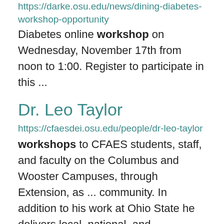https://darke.osu.edu/news/dining-diabetes-workshop-opportunity
Diabetes online workshop on Wednesday, November 17th from noon to 1:00. Register to participate in this ...
Dr. Leo Taylor
https://cfaesdei.osu.edu/people/dr-leo-taylor
workshops to CFAES students, staff, and faculty on the Columbus and Wooster Campuses, through Extension, as ... community. In addition to his work at Ohio State he delivers local, national, and international workshops on ... workshops, webinars, conference presentations, guest